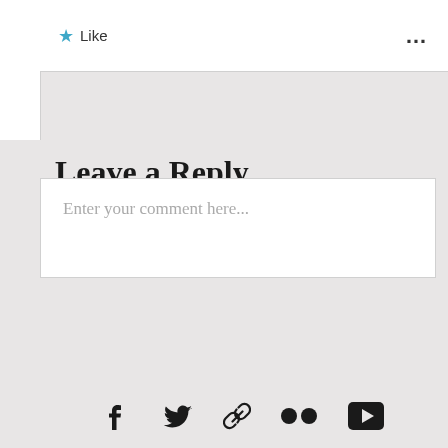Like  ...
Leave a Reply
Enter your comment here...
[Figure (screenshot): Social media share icons: Facebook, Twitter, link/paperclip, Flickr (two dots), YouTube play button]